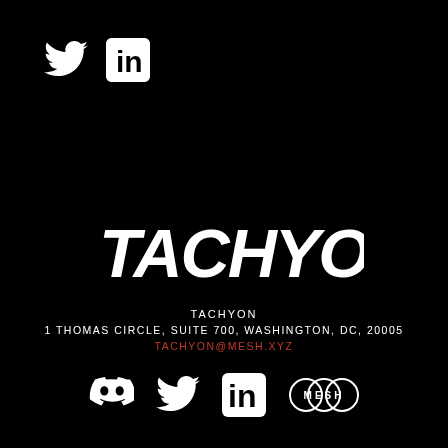[Figure (logo): Twitter bird icon (white) and LinkedIn icon (white) at top left]
[Figure (logo): TACHYON bold italic logo text in white on black background]
TACHYON
1 THOMAS CIRCLE, SUITE 700, WASHINGTON, DC, 20005
TACHYON@MESH.XYZ
[Figure (logo): Bottom row of social icons: Discord, Twitter, LinkedIn, MESH logo]